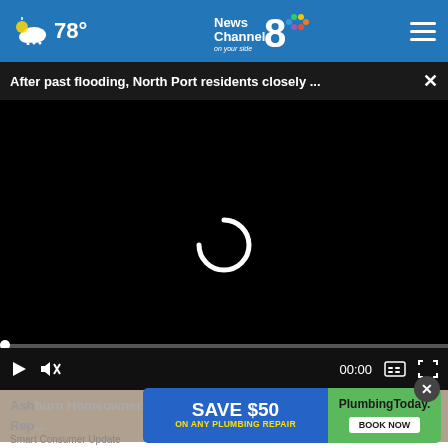78° News Channel 8 on your side
After past flooding, North Port residents closely ...
[Figure (screenshot): Video player with black loading screen showing a spinning loading indicator, progress bar, and playback controls including play button, mute button, time display 00:00, subtitles button, and fullscreen button]
Ashburn Homeowners Are Getting Their Roofs Replaced...
[Figure (other): Advertisement banner: SAVE $50 ON ANY PLUMBING REPAIR on the left (blue background with yellow text), PlumbingToday BOOK NOW on the right (green background)]
Smart Consumer Update